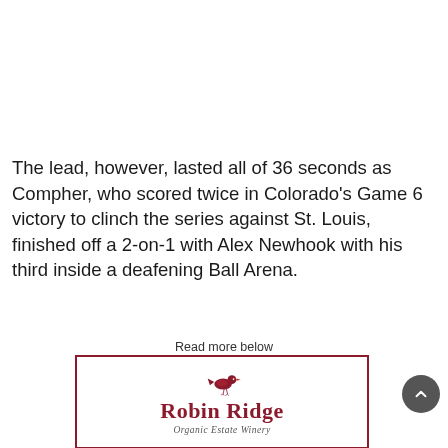The lead, however, lasted all of 36 seconds as Compher, who scored twice in Colorado's Game 6 victory to clinch the series against St. Louis, finished off a 2-on-1 with Alex Newhook with his third inside a deafening Ball Arena.
Read more below
[Figure (logo): Robin Ridge Organic Estate Winery advertisement logo with bird illustration]